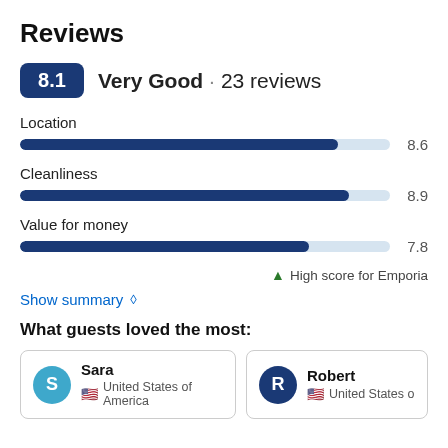Reviews
8.1  Very Good · 23 reviews
[Figure (bar-chart): Ratings]
↑ High score for Emporia
Show summary ◇
What guests loved the most:
Sara
United States of America
Robert
United States of America